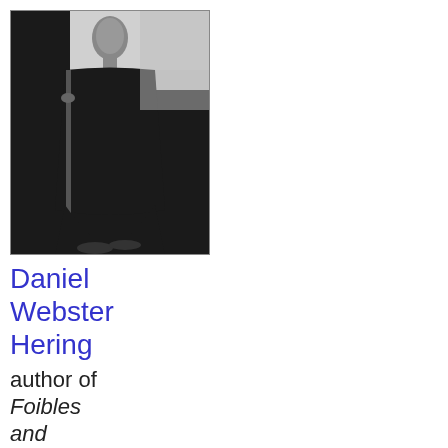[Figure (photo): Black and white photograph of Daniel Webster Hering, a man in dark robes standing upright, holding a staff or cane, posed formally.]
Daniel Webster Hering
author of
Foibles and Fallacies of Science